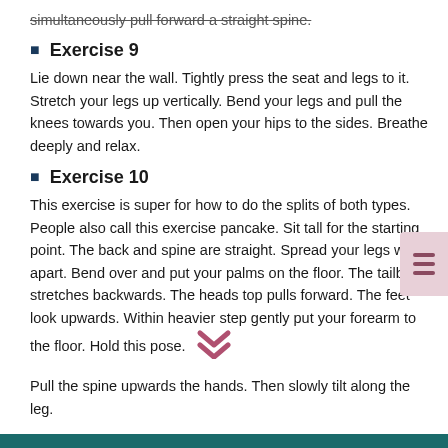simultaneously pull forward a straight spine.
Exercise 9
Lie down near the wall. Tightly press the seat and legs to it. Stretch your legs up vertically. Bend your legs and pull the knees towards you. Then open your hips to the sides. Breathe deeply and relax.
Exercise 10
This exercise is super for how to do the splits of both types. People also call this exercise pancake. Sit tall for the starting point. The back and spine are straight. Spread your legs wide apart. Bend over and put your palms on the floor. The tailbone stretches backwards. The heads top pulls forward. The feet look upwards. Within heavier step gently put your forearm to the floor. Hold this pose.
Pull the spine upwards the hands. Then slowly tilt along the leg.